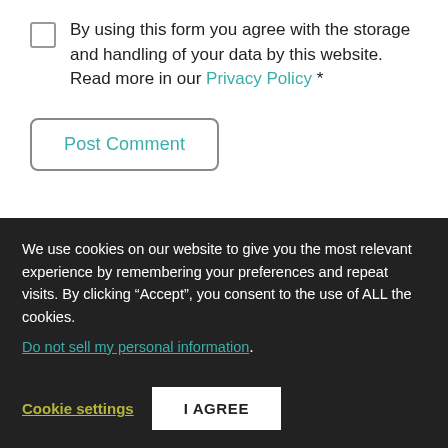By using this form you agree with the storage and handling of your data by this website. Read more in our Privacy Policy *.
Post Comment
Related Content
We use cookies on our website to give you the most relevant experience by remembering your preferences and repeat visits. By clicking “Accept”, you consent to the use of ALL the cookies.
Do not sell my personal information.
Cookie settings  I AGREE